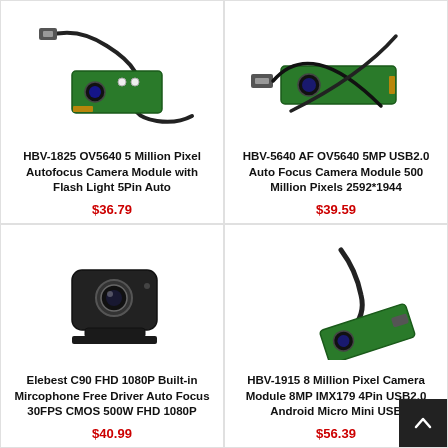[Figure (photo): Camera module board with USB cable and LED flash, top view on white background]
HBV-1825 OV5640 5 Million Pixel Autofocus Camera Module with Flash Light 5Pin Auto
$36.79
[Figure (photo): Camera module board with USB cable crossed, top view on white background]
HBV-5640 AF OV5640 5MP USB2.0 Auto Focus Camera Module 500 Million Pixels 2592*1944
$39.59
[Figure (photo): Black compact webcam C90 on white background, front facing]
Elebest C90 FHD 1080P Built-in Mircophone Free Driver Auto Focus 30FPS CMOS 500W FHD 1080P
$40.99
[Figure (photo): Camera module board with micro USB cable, angled view on white background]
HBV-1915 8 Million Pixel Camera Module 8MP IMX179 4Pin USB2.0 Android Micro Mini USB
$56.39